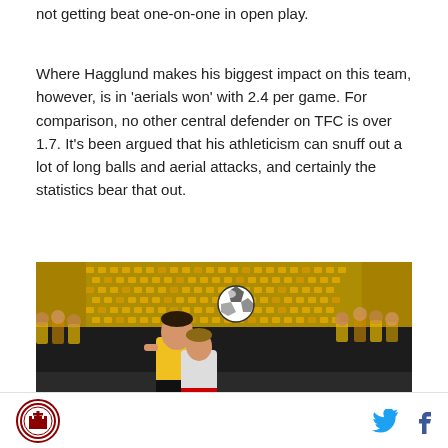not getting beat one-on-one in open play.
Where Hagglund makes his biggest impact on this team, however, is in 'aerials won' with 2.4 per game. For comparison, no other central defender on TFC is over 1.7. It's been argued that his athleticism can snuff out a lot of long balls and aerial attacks, and certainly the statistics bear that out.
[Figure (photo): Soccer players heading the ball during a match. A player in a yellow jersey jumps for a header with a soccer ball above his head, while another player in a lighter jersey is also competing for the ball. The background shows a stadium with yellow seats and spectators.]
Logo and social media icons (Twitter, Facebook)